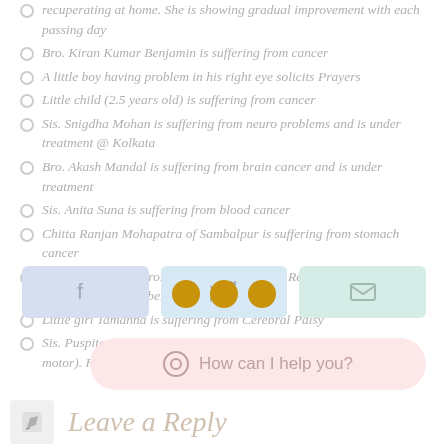recuperating at home. She is showing gradual improvement with each passing day
Bro. Kiran Kumar Benjamin is suffering from cancer
A little boy having problem in his right eye solicits Prayers
Little child (2.5 years old) is suffering from cancer
Sis. Snigdha Mohan is suffering from neuro problems and is under treatment @ Kolkata
Bro. Akash Mandal is suffering from brain cancer and is under treatment
Sis. Anita Suna is suffering from blood cancer
Chitta Ranjan Mohapatra of Sambalpur is suffering from stomach cancer
Bro. Rohini Sahu, bro. Binoy Kumar Muduli, Rev. Stephen Behera and for the elderly members of our congregation
Little girl Tamanna is suffering from Cerebral Palsy
Sis. Puspita Gan is suffering from neurological problems (neuron motor). Her condition has not improved much.
[Figure (infographic): Three share buttons: Facebook (blue), Twitter (light blue), Email (green/teal). Below them a WhatsApp chat button with text 'How can I help you?'. Below that a 'Leave a Reply' section header with pencil icon.]